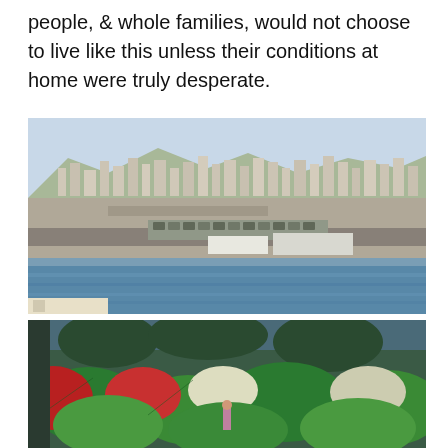people, & whole families, would not choose to live like this unless their conditions at home were truly desperate.
[Figure (photo): Aerial/elevated view of a port city with urban buildings on hillsides in the background, a waterfront road, parked cars, and blue water in the foreground. Likely a Greek port city.]
[Figure (photo): Close-up photo of a large number of colorful tents (green, red, white) crowded together under trees, with people visible among them. A refugee or migrant camp.]